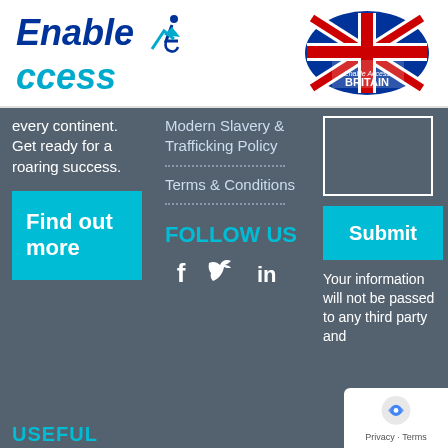[Figure (logo): Enable Access logo with wheelchair icon and arrow, italic bold blue text]
[Figure (logo): Made in Britain logo with Union Jack flag and Enable Access branding]
every continent. Get ready for a roaring success.
Find out more
USEFUL
Modern Slavery & Trafficking Policy
Terms & Conditions
FOLLOW US
Your information will not be passed to any third party and
Submit